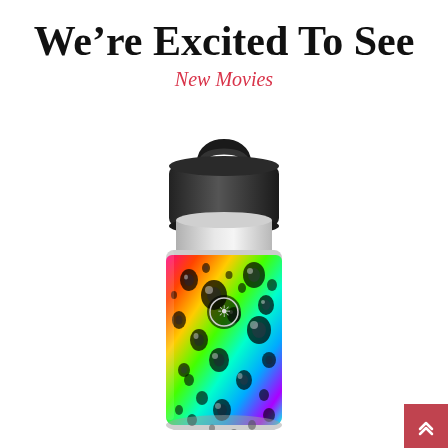We're Excited To See
New Movies
[Figure (photo): A Hydro Flask water bottle with a rainbow tie-dye water droplets skin/wrap and a black lid with handle, photographed on white background.]